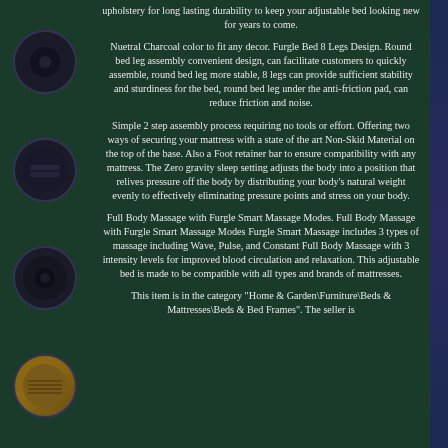upholstery for long lasting durability to keep your adjustable bed looking new for years to come.
Nuetral Charcoal color to fit any decor. Furgle Bed 8 Legs Design. Round bed leg assembly convenient design, can facilitate customers to quickly assemble, round bed leg more stable, 8 legs can provide sufficient stability and sturdiness for the bed, round bed leg under the anti-friction pad, can reduce friction and noise.
Simple 2 step assembly process requiring no tools or effort. Offering two ways of securing your mattress with a state of the art Non-Skid Material on the top of the base. Also a Foot retainer bar to ensure compatibility with any mattress. The Zero gravity sleep setting adjusts the body into a position that relives pressure off the body by distributing your body's natural weight evenly to effectively eliminating pressure points and stress on your body.
Full Body Massage with Furgle Smart Massage Modes. Full Body Massage with Furgle Smart Massage Modes Furgle Smart Massage includes 3 types of massage including Wave, Pulse, and Constant Full Body Massage with 3 intensity levels for improved blood circulation and relaxation. This adjustable bed is made to be compatible with all types and brands of mattresses.
This item is in the category "Home & Garden\Furniture\Beds & Mattresses\Beds & Bed Frames". The seller is